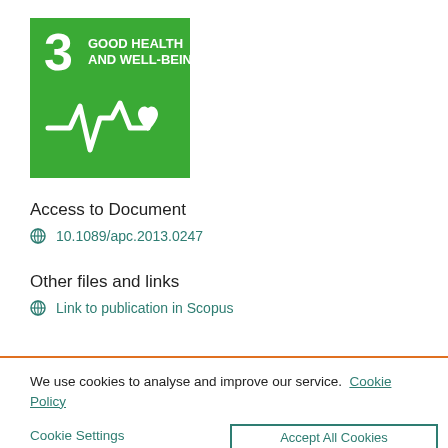[Figure (logo): UN SDG Goal 3 - Good Health and Well-Being icon. Green square with white number 3, text 'GOOD HEALTH AND WELL-BEING', and a heart with ECG line icon.]
Access to Document
10.1089/apc.2013.0247
Other files and links
Link to publication in Scopus
We use cookies to analyse and improve our service. Cookie Policy
Cookie Settings
Accept All Cookies